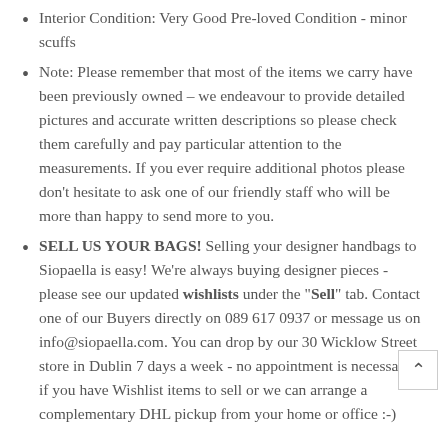Interior Condition: Very Good Pre-loved Condition - minor scuffs
Note: Please remember that most of the items we carry have been previously owned – we endeavour to provide detailed pictures and accurate written descriptions so please check them carefully and pay particular attention to the measurements. If you ever require additional photos please don't hesitate to ask one of our friendly staff who will be more than happy to send more to you.
SELL US YOUR BAGS! Selling your designer handbags to Siopaella is easy! We're always buying designer pieces - please see our updated wishlists under the "Sell" tab. Contact one of our Buyers directly on 089 617 0937 or message us on info@siopaella.com. You can drop by our 30 Wicklow Street store in Dublin 7 days a week - no appointment is necessary if you have Wishlist items to sell or we can arrange a complementary DHL pickup from your home or office :-)